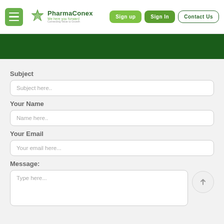PharmaConex — We here you forward | Sign up | Sign in | Contact Us
[Figure (screenshot): Dark green banner below navigation bar]
Subject
Subject here..
Your Name
Name here..
Your Email
Your email here...
Message:
Type here...